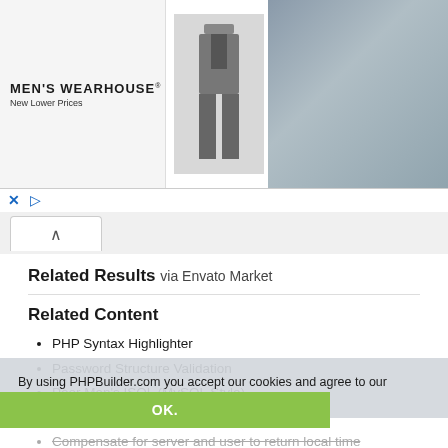[Figure (screenshot): Men's Wearhouse advertisement banner showing a suit with 'Joseph Abboud Dar...' label and price $229.99, with a wedding couple photo on the right]
Related Results via Envato Market
Related Content
PHP Syntax Highlighter
Password Structure Validation
Poor Man's ISQL (MySQL Style)
Integrating Ektron eWebEditPro in PHP
Compensate for server and user to return local time
CSV Export
Create and Delete tables in an existing database
Easy dates
Whiteboard and Audio Video Modules for
By using PHPBuilder.com you accept our cookies and agree to our privacy policy.